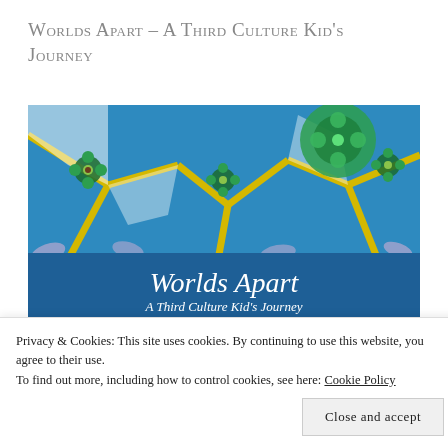Worlds Apart – A Third Culture Kid's Journey
[Figure (photo): Book cover of 'Worlds Apart – A Third Culture Kid's Journey' showing colorful Islamic tilework pattern at top in blues, greens, and yellows with flower motifs, a blue banner with the title 'Worlds Apart' in italic serif font and subtitle 'A Third Culture Kid's Journey', and a vintage map showing India at the bottom]
Privacy & Cookies: This site uses cookies. By continuing to use this website, you agree to their use.
To find out more, including how to control cookies, see here: Cookie Policy
Close and accept